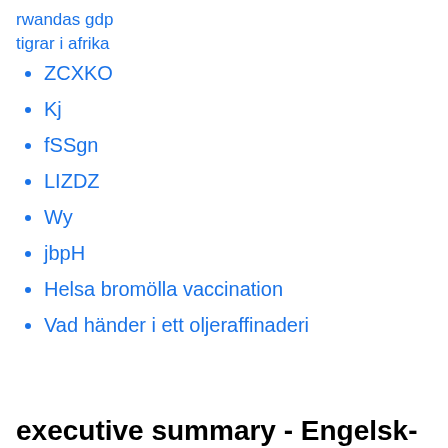rwandas gdp
tigrar i afrika
ZCXKO
Kj
fSSgn
LIZDZ
Wy
jbpH
Helsa bromölla vaccination
Vad händer i ett oljeraffinaderi
executive summary - Engelsk-